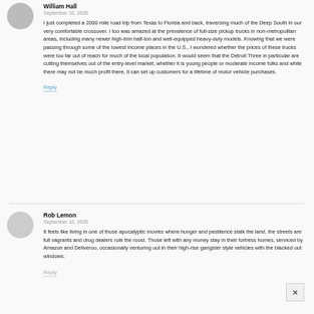William Hall
September 16, 2020
I just completed a 2000 mile road trip from Texas to Florida and back, traversing much of the Deep South in our very comfortable crossover. I too was amazed at the prevalence of full-size pickup trucks in non-metropolitan areas, including many newer high-trim half-ton and well-equipped heavy-duty models. Knowing that we were passing through some of the lowest income places in the U.S., I wondered whether the prices of these trucks were too far out of reach for much of the local population. It would seem that the Detroit Three in particular are cutting themselves out of the entry-level market, whether it is young people or moderate income folks and while there may not be much profit there, it can set up customers for a lifetime of motor vehicle purchases.
Reply
Rob Lemon
September 16, 2020
It feels like living in one of those apocalyptic movies where hunger and pestilence stalk the land, the streets are full vagrants and drug dealers rule the roost. Those left with any money stay in their fortress homes, serviced by Amazon and Deliveroo, occasionally venturing out in their high-rise gangster style vehicles with the blacked out windows.
Reply